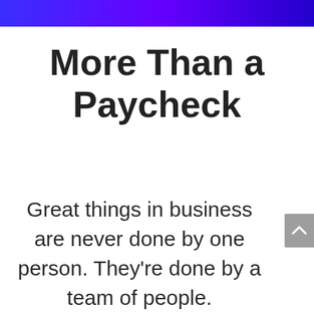[Figure (other): Blue-to-purple gradient header bar across the top of the page]
More Than a Paycheck
Great things in business are never done by one person. They're done by a team of people.